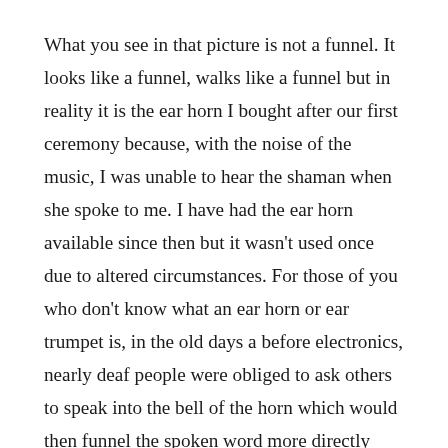What you see in that picture is not a funnel. It looks like a funnel, walks like a funnel but in reality it is the ear horn I bought after our first ceremony because, with the noise of the music, I was unable to hear the shaman when she spoke to me. I have had the ear horn available since then but it wasn't used once due to altered circumstances. For those of you who don't know what an ear horn or ear trumpet is, in the old days a before electronics, nearly deaf people were obliged to ask others to speak into the bell of the horn which would then funnel the spoken word more directly into the ear. It works – a little.
Last night we had a very intense night of spiritual activity with several healings and heavy contact with